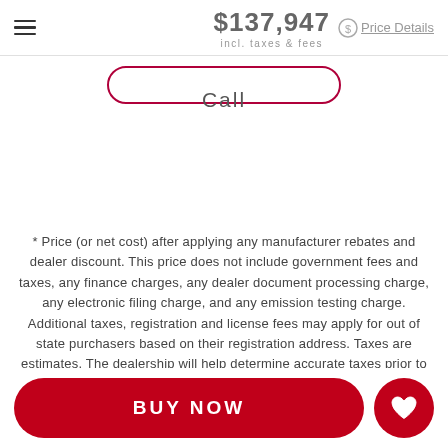$137,947 incl. taxes & fees | Price Details
Call
* Price (or net cost) after applying any manufacturer rebates and dealer discount. This price does not include government fees and taxes, any finance charges, any dealer document processing charge, any electronic filing charge, and any emission testing charge. Additional taxes, registration and license fees may apply for out of state purchasers based on their registration address. Taxes are estimates. The dealership will help determine accurate taxes prior to delivery. Fuel Economy values are estimates and based on model year EPA mileage ratings. Use for comparison purposes only. Your actual mileage will vary, depending on
BUY NOW